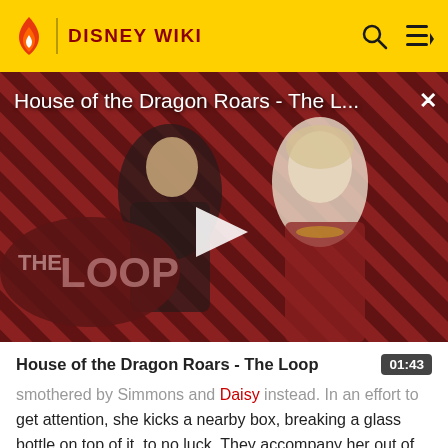DISNEY WIKI
[Figure (screenshot): Video thumbnail for 'House of the Dragon Roars - The Loop' showing two characters with a striped red/dark background, THE LOOP logo, and a play button overlay]
House of the Dragon Roars - The Loop
smothered by Simmons and Daisy instead. In an effort to get attention, she kicks a nearby box, breaking a glass bottle on top of it, to no luck. They accompany her out of the room, and Daisy promises to take her to the hospital,